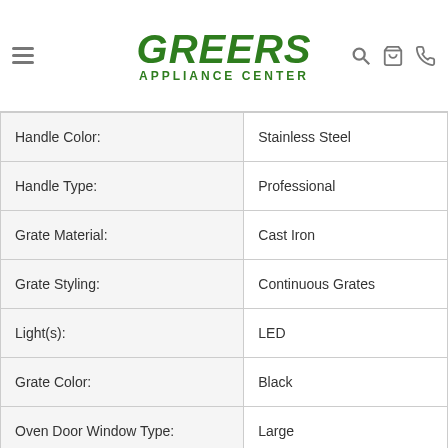Greers Appliance Center
| Attribute | Value |
| --- | --- |
| Handle Color: | Stainless Steel |
| Handle Type: | Professional |
| Grate Material: | Cast Iron |
| Grate Styling: | Continuous Grates |
| Light(s): | LED |
| Grate Color: | Black |
| Oven Door Window Type: | Large |